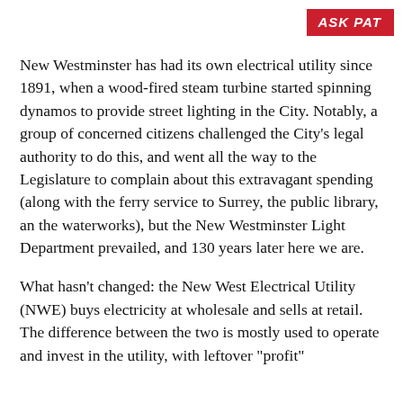ASK PAT
New Westminster has had its own electrical utility since 1891, when a wood-fired steam turbine started spinning dynamos to provide street lighting in the City. Notably, a group of concerned citizens challenged the City’s legal authority to do this, and went all the way to the Legislature to complain about this extravagant spending (along with the ferry service to Surrey, the public library, an the waterworks), but the New Westminster Light Department prevailed, and 130 years later here we are.
What hasn’t changed: the New West Electrical Utility (NWE) buys electricity at wholesale and sells at retail. The difference between the two is mostly used to operate and invest in the utility, with leftover “profit” that goes into City coffers to address a portion of the